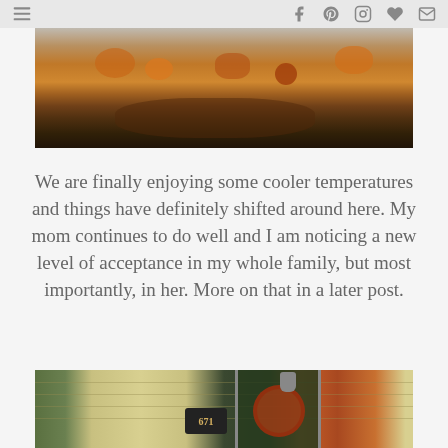☰   f  pinterest  instagram  ♥  ✉
[Figure (photo): Autumn seasonal decor arrangement with pumpkins, berries, pine cones, and fall foliage in warm orange and brown tones]
We are finally enjoying some cooler temperatures and things have definitely shifted around here.  My mom continues to do well and I am noticing a new level of acceptance in my whole family, but most importantly, in her.  More on that in a later post.
[Figure (photo): House front exterior showing a green front door with a number 671 plaque, a fall wreath with orange and red flowers, a porch light, and yellow siding with an evergreen shrub]